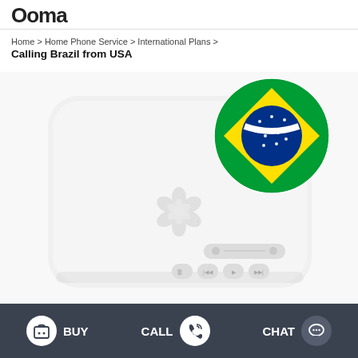Ooma
Home > Home Phone Service > International Plans >
Calling Brazil from USA
[Figure (photo): Ooma Telo device (white rounded rectangle with flower logo and control buttons) with Brazilian flag circle overlaid in upper right corner]
BUY   CALL   CHAT